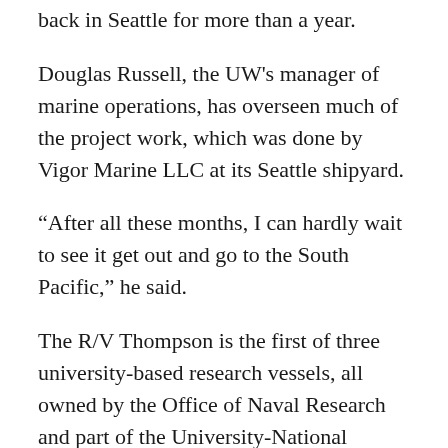back in Seattle for more than a year.
Douglas Russell, the UW's manager of marine operations, has overseen much of the project work, which was done by Vigor Marine LLC at its Seattle shipyard.
“After all these months, I can hardly wait to see it get out and go to the South Pacific,” he said.
The R/V Thompson is the first of three university-based research vessels, all owned by the Office of Naval Research and part of the University-National Oceanographic Laboratory System fleet, to get a similar midlife upgrade. The Scripps Institution of Oceanography’s vessel, the R/V Roger Revelle, will be next, followed by the Woods Hole